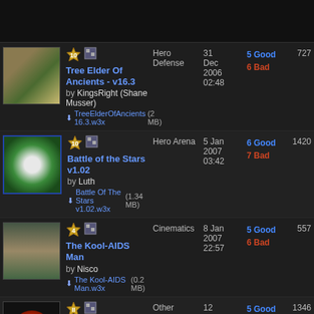Tree Elder Of Ancients - v16.3 by KingsRight (Shane Musser) | Hero Defense | 31 Dec 2006 02:48 | 5 Good 6 Bad | 727
Battle of the Stars v1.02 by Luth | Hero Arena | 5 Jan 2007 03:42 | 6 Good 7 Bad | 1420
The Kool-AIDS Man by Nisco | Cinematics | 8 Jan 2007 22:57 | 5 Good 6 Bad | 557
Hungry Hungry Creature 18 by TheZizz Originally | Other | 12 Jan 2007 02:24 | 5 Good 6 Bad | 1346
LOAP Aleans VS Zombies v1.08 | Role Playing (RPG) | 16 Jan 2007 | 5 Good 6 Bad | 427